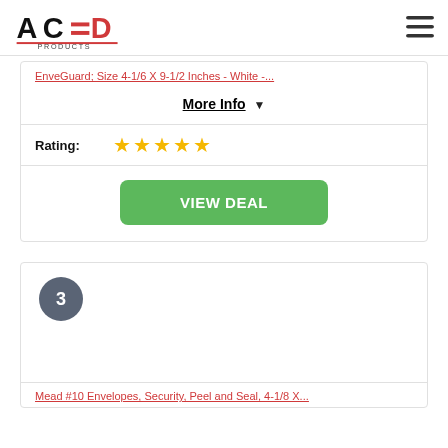ACED PRODUCTS
EnveGuard, Size 4-1/6 X 9-1/2 Inches - White -...
More Info ▼
Rating: ★★★★★
VIEW DEAL
3
Mead #10 Envelopes, Security, Peel and Seal, 4-1/8 X...